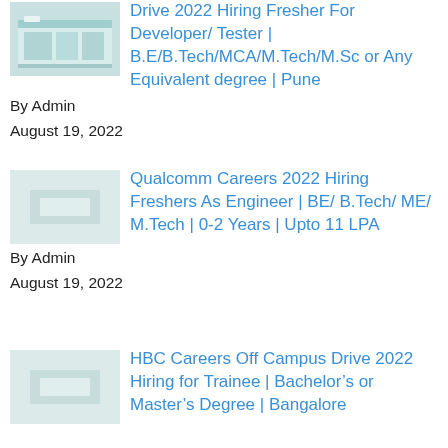[Figure (photo): Thumbnail image of a laboratory or office interior with teal/green colored furniture]
Drive 2022 Hiring Fresher For Developer/ Tester | B.E/B.Tech/MCA/M.Tech/M.Sc or Any Equivalent degree | Pune
By Admin
August 19, 2022
[Figure (photo): Thumbnail placeholder for Qualcomm Careers article]
Qualcomm Careers 2022 Hiring Freshers As Engineer | BE/ B.Tech/ ME/ M.Tech | 0-2 Years | Upto 11 LPA
By Admin
August 19, 2022
[Figure (photo): Thumbnail placeholder for HBC Careers article]
HBC Careers Off Campus Drive 2022 Hiring for Trainee | Bachelor’s or Master’s Degree | Bangalore